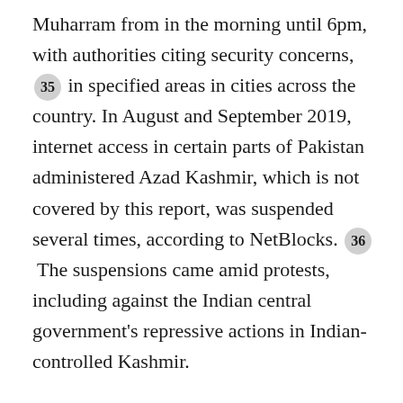Muharram from in the morning until 6pm, with authorities citing security concerns, 35 in specified areas in cities across the country. In August and September 2019, internet access in certain parts of Pakistan administered Azad Kashmir, which is not covered by this report, was suspended several times, according to NetBlocks. 36 The suspensions came amid protests, including against the Indian central government's repressive actions in Indian-controlled Kashmir.
During the coverage period, 3G, 4G, and LTE mobile internet services were also shut down in areas that receive comparatively little media attention, such as the less developed regions of Balochistan, 37 where several districts have had no mobile internet service since February 2017. In 2019, a citizen challenged a shutdown in the Kech District of Balochistan at the Turbat bench of the